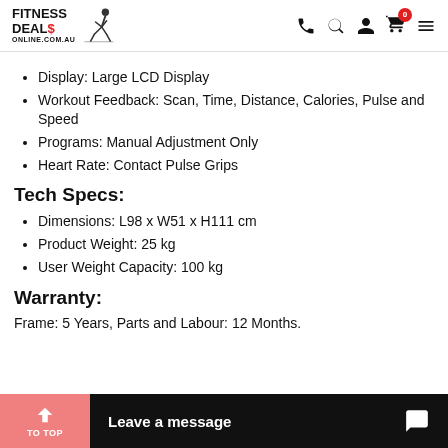Fitness Deals Online logo and navigation icons
Display: Large LCD Display
Workout Feedback: Scan, Time, Distance, Calories, Pulse and Speed
Programs: Manual Adjustment Only
Heart Rate: Contact Pulse Grips
Tech Specs:
Dimensions: L98 x W51 x H111 cm
Product Weight: 25 kg
User Weight Capacity: 100 kg
Warranty:
Frame: 5 Years, Parts and Labour: 12 Months.